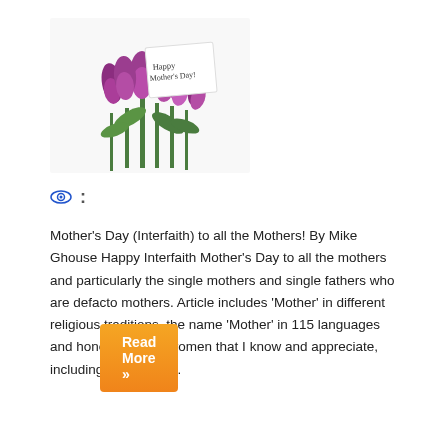[Figure (photo): Bouquet of purple/pink tulips with a white card reading 'Happy Mother's Day!']
[Figure (other): Eye icon and a two-dot menu icon]
Mother's Day (Interfaith) to all the Mothers! By Mike Ghouse Happy Interfaith Mother's Day to all the mothers and particularly the single mothers and single fathers who are defacto mothers. Article includes 'Mother' in different religious traditions, the name 'Mother' in 115 languages and honoring a few women that I know and appreciate, including my Mother...
Read More »